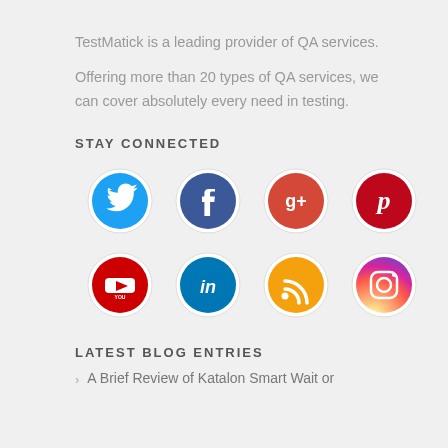TestMatick is a leading provider of QA services.
Offering more than 20 types of QA services, we can cover absolutely every need in testing.
STAY CONNECTED
[Figure (infographic): Social media icons arranged in a 4x2 grid: Twitter, Facebook, Google+, Pinterest (top row); YouTube, LinkedIn, RSS, Instagram (bottom row). Each icon is styled as a torn paper circle revealing the social network logo.]
LATEST BLOG ENTRIES
A Brief Review of Katalon Smart Wait or